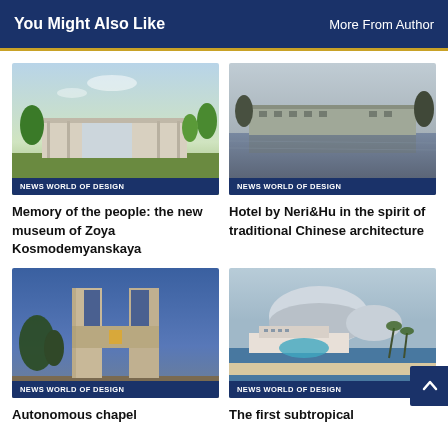You Might Also Like   More From Author
[Figure (photo): Modern single-story museum building with glass facade surrounded by trees and grass under blue sky]
NEWS WORLD OF DESIGN
Memory of the people: the new museum of Zoya Kosmodemyanskaya
[Figure (photo): Low modern building reflected in a still pond, with trees in background under overcast sky]
NEWS WORLD OF DESIGN
Hotel by Neri&Hu in the spirit of traditional Chinese architecture
[Figure (photo): Stone chapel with H-shaped opening carved into it against blue sky with trees]
NEWS WORLD OF DESIGN
Autonomous chapel
[Figure (photo): Aerial view of large subtropical resort complex with dome structures, pools, and beach]
NEWS WORLD OF DESIGN
The first subtropical